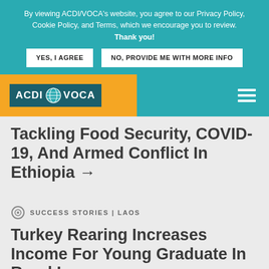By viewing ACDI/VOCA's website, you agree to our Privacy Policy, Cookie Policy, and Terms, which we encourage you to review. Thank you!
YES, I AGREE | NO, PROVIDE ME WITH MORE INFO
[Figure (logo): ACDI/VOCA logo with globe icon on dark teal background, on orange navbar]
Tackling Food Security, COVID-19, And Armed Conflict In Ethiopia →
SUCCESS STORIES | LAOS
Turkey Rearing Increases Income For Young Graduate In Rural Laos →